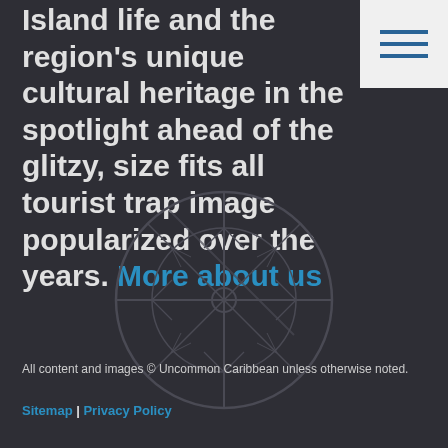Island life and the region's unique cultural heritage in the spotlight ahead of the glitzy, size fits all tourist trap image popularized over the years. More about us
[Figure (logo): Circular compass/snowflake logo watermark in dark grey on dark background, Uncommon Caribbean brand logo]
All content and images © Uncommon Caribbean unless otherwise noted.
Sitemap | Privacy Policy